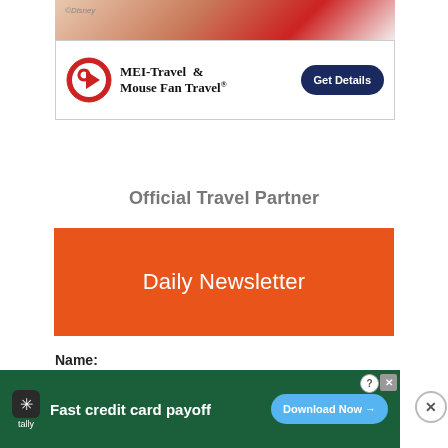[Figure (screenshot): MEI-Travel & Mouse Fan Travel advertisement banner with Disney character (Mickey Mouse in red outfit), logo with red circle arrow icon, brand name text, and dark blue 'Get Details' button. Small '©Disney' watermark in top left corner.]
Official Travel Partner
Daily Newsletter
Name:
Email:
SIGN UP
[Figure (screenshot): Bottom advertisement banner for Tally app on green background. Shows Tally logo (star/asterisk icon), text 'Fast credit card payoff', and light blue 'Download Now →' button. Small help (?) and close (X) icons in top right corner of ad. Large circle X button at far right outside ad.]